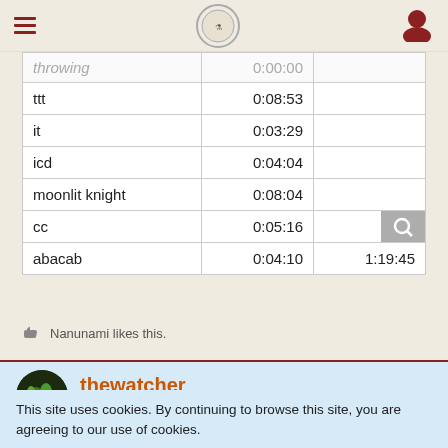|  |  |  |
| --- | --- | --- |
| throwing | 0:00:00 |  |
| ttt | 0:08:53 |  |
| it | 0:03:29 |  |
| icd | 0:04:04 |  |
| moonlit knight | 0:08:04 |  |
| cc | 0:05:16 |  |
| abacab | 0:04:10 | 1:19:45 |
Nanunami likes this.
thewatcher
Giant Hogweed
Jul 30th 2021
This site uses cookies. By continuing to browse this site, you are agreeing to our use of cookies.
More Details
Close